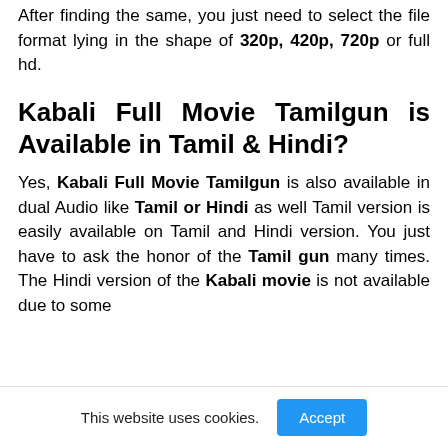After finding the same, you just need to select the file format lying in the shape of 320p, 420p, 720p or full hd.
Kabali Full Movie Tamilgun is Available in Tamil & Hindi?
Yes, Kabali Full Movie Tamilgun is also available in dual Audio like Tamil or Hindi as well Tamil version is easily available on Tamil and Hindi version. You just have to ask the honor of the Tamil gun many times. The Hindi version of the Kabali movie is not available due to some